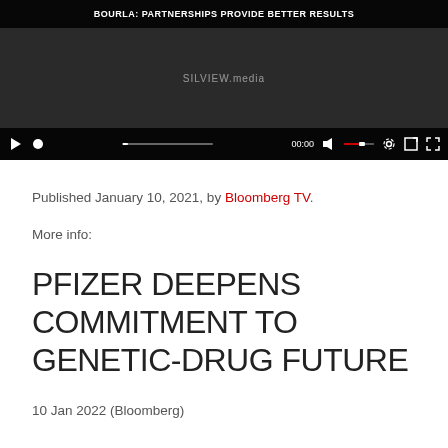[Figure (screenshot): Video player screenshot showing a Bloomberg TV video titled 'BOURLA: PARTNERSHIPS PROVIDE BETTER RESULTS' with playback controls and SILVIEW.media watermark. The player shows 00:00 timestamp with a dark background.]
Published January 10, 2021, by Bloomberg TV.
More info:
PFIZER DEEPENS COMMITMENT TO GENETIC-DRUG FUTURE
10 Jan 2022 (Bloomberg)